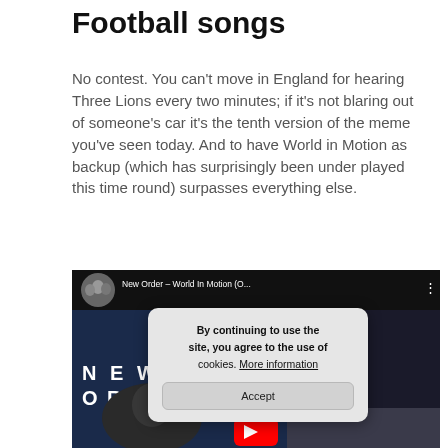Football songs
No contest. You can't move in England for hearing Three Lions every two minutes; if it's not blaring out of someone's car it's the tenth version of the meme you've seen today. And to have World in Motion as backup (which has surprisingly been under played this time round) surpasses everything else.
[Figure (screenshot): YouTube video thumbnail for 'New Order – World In Motion' with a cookie consent overlay dialog showing 'By continuing to use the site, you agree to the use of cookies. More information' and an Accept button.]